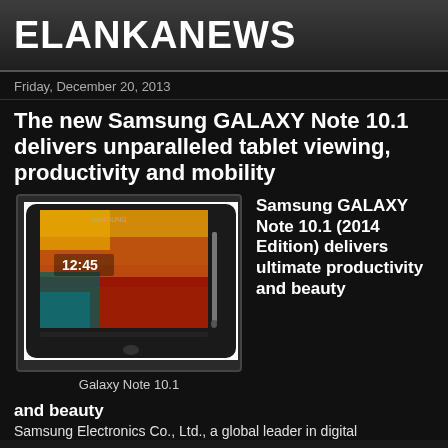ELANKANEWS
Friday, December 20, 2013
The new Samsung GALAXY Note 10.1 delivers unparalleled tablet viewing, productivity and mobility
[Figure (photo): Samsung GALAXY Note 10.1 tablet device with S Pen stylus, showing lock screen with time 12:45 and colorful wallpaper]
Galaxy Note 10.1
Samsung GALAXY Note 10.1 (2014 Edition) delivers ultimate productivity and beauty
Samsung Electronics Co., Ltd., a global leader in digital